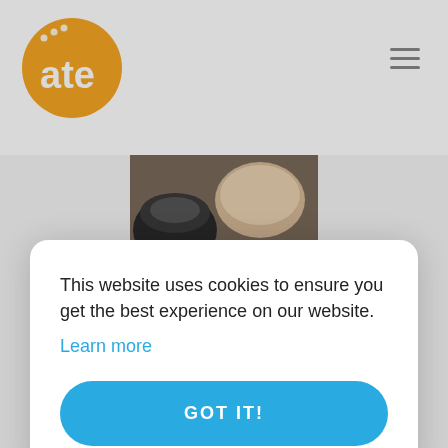[Figure (logo): Orange circular logo with white text 'ate' and dot pattern, for a food/cooking website]
[Figure (photo): Photo of hands chopping fresh herbs (cilantro/parsley) on a cutting board with a knife, black mortar in background]
Cooking at Home...
This website uses cookies to ensure you get the best experience on our website.
Learn more
GOT IT!